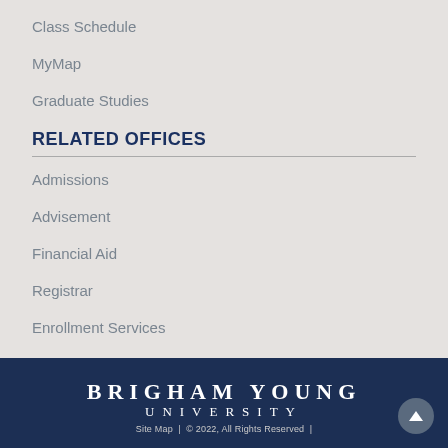Class Schedule
MyMap
Graduate Studies
RELATED OFFICES
Admissions
Advisement
Financial Aid
Registrar
Enrollment Services
BRIGHAM YOUNG
UNIVERSITY
Site Map  |  © 2022, All Rights Reserved  |